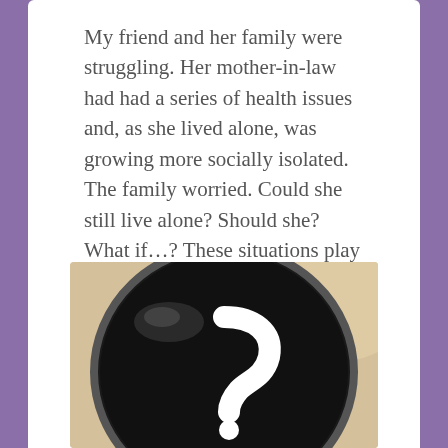My friend and her family were struggling. Her mother-in-law had had a series of health issues and, as she lived alone, was growing more socially isolated. The family worried. Could she still live alone? Should she? What if…? These situations play out across the US every single day causing angst and trauma for everyone involved.
[Figure (photo): Close-up photo of a black ceramic bowl or sphere with a white swirling question mark pattern on its surface, placed on a light beige/cream background.]